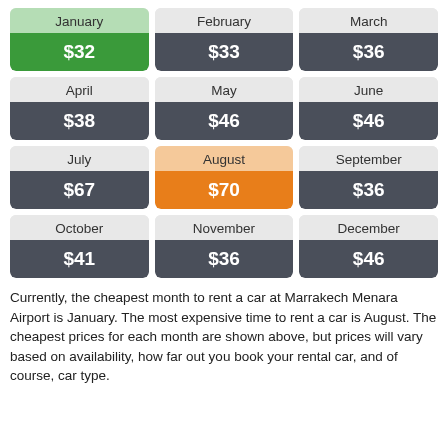| Month | Price |
| --- | --- |
| January | $32 |
| February | $33 |
| March | $36 |
| April | $38 |
| May | $46 |
| June | $46 |
| July | $67 |
| August | $70 |
| September | $36 |
| October | $41 |
| November | $36 |
| December | $46 |
Currently, the cheapest month to rent a car at Marrakech Menara Airport is January. The most expensive time to rent a car is August. The cheapest prices for each month are shown above, but prices will vary based on availability, how far out you book your rental car, and of course, car type.